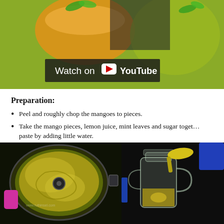[Figure (photo): Photo of mango drinks with mint garnish and a YouTube 'Watch on YouTube' overlay banner at the bottom left of the image.]
Preparation:
Peel and roughly chop the mangoes to pieces.
Take the mango pieces, lemon juice, mint leaves and sugar together and make a paste by adding little water.
Take a glass, add 2 tsp of the ground mango paste, add few mint.
Pour the sparkling water (soda) or sprite and mix it well.
Serve chilled.
[Figure (photo): Photo of a blender jar from above containing blended mango paste (yellow-green color), with a pink blender handle visible on the left side and a website URL watermark.]
[Figure (photo): Photo of a glass mason jar mug with mango paste being spooned in using a yellow spoon, on a dark background with a blue container visible.]